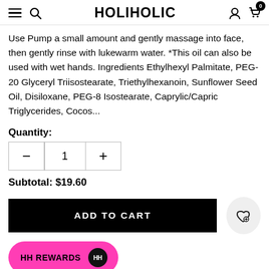HOLIHOLIC
Use Pump a small amount and gently massage into face, then gently rinse with lukewarm water. *This oil can also be used with wet hands. Ingredients Ethylhexyl Palmitate, PEG-20 Glyceryl Triisostearate, Triethylhexanoin, Sunflower Seed Oil, Disiloxane, PEG-8 Isostearate, Caprylic/Capric Triglycerides, Cocos...
Quantity:
Subtotal:  $19.60